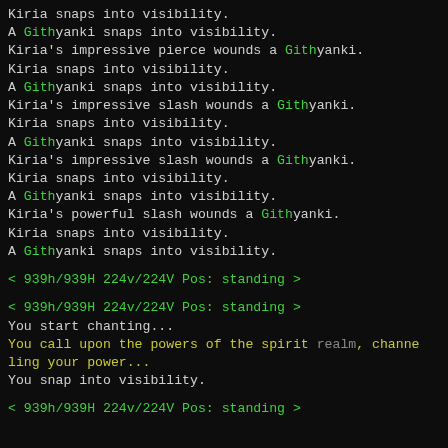Kiria snaps into visibility.
A Githyanki snaps into visibility.
Kiria's impressive pierce wounds a Githyanki.
Kiria snaps into visibility.
A Githyanki snaps into visibility.
Kiria's impressive slash wounds a Githyanki.
Kiria snaps into visibility.
A Githyanki snaps into visibility.
Kiria's impressive slash wounds a Githyanki.
Kiria snaps into visibility.
A Githyanki snaps into visibility.
Kiria's powerful slash wounds a Githyanki.
Kiria snaps into visibility.
A Githyanki snaps into visibility.
< 939h/939H 224v/224V Pos: standing >
< 939h/939H 224v/224V Pos: standing >
You start chanting...
You call upon the powers of the spirit realm, channeling your power...
You snap into visibility.
< 939h/939H 224v/224V Pos: standing >